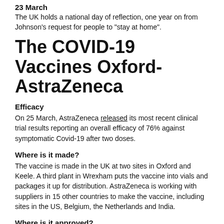23 March
The UK holds a national day of reflection, one year on from Johnson's request for people to "stay at home".
The COVID-19 Vaccines Oxford-AstraZeneca
Efficacy
On 25 March, AstraZeneca released its most recent clinical trial results reporting an overall efficacy of 76% against symptomatic Covid-19 after two doses.
Where is it made?
The vaccine is made in the UK at two sites in Oxford and Keele. A third plant in Wrexham puts the vaccine into vials and packages it up for distribution. AstraZeneca is working with suppliers in 15 other countries to make the vaccine, including sites in the US, Belgium, the Netherlands and India.
Where is it approved?